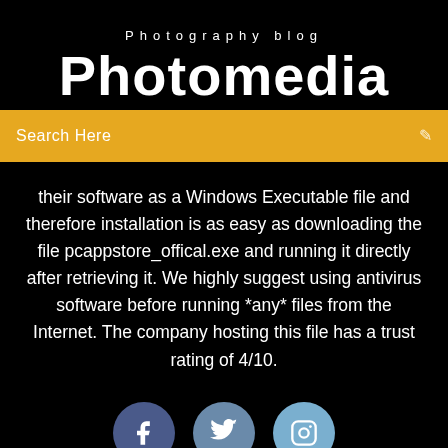Photography blog
Photomedia
Search Here
their software as a Windows Executable file and therefore installation is as easy as downloading the file pcappstore_offical.exe and running it directly after retrieving it. We highly suggest using antivirus software before running *any* files from the Internet. The company hosting this file has a trust rating of 4/10.
[Figure (illustration): Social media icons: Facebook (dark blue circle with f), Twitter (medium blue circle with bird), Instagram (light blue circle with camera outline)]